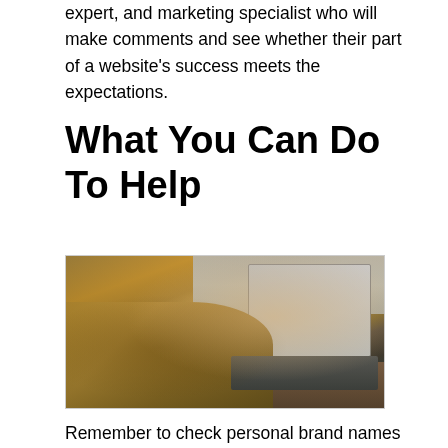expert, and marketing specialist who will make comments and see whether their part of a website's success meets the expectations.
What You Can Do To Help
[Figure (photo): A person wearing a yellow/mustard sweater typing on a laptop computer placed on a wooden desk, viewed from above and to the side. The laptop screen is open and visible. Background shows a window with natural light.]
Remember to check personal brand names